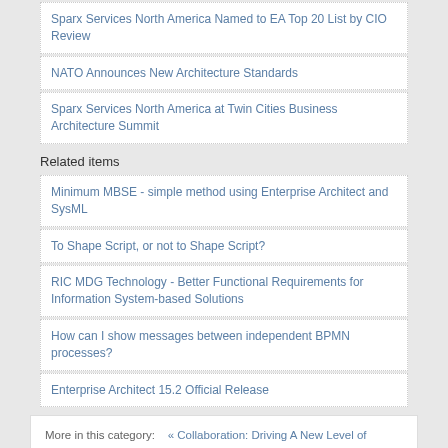Sparx Services North America Named to EA Top 20 List by CIO Review
NATO Announces New Architecture Standards
Sparx Services North America at Twin Cities Business Architecture Summit
Related items
Minimum MBSE - simple method using Enterprise Architect and SysML
To Shape Script, or not to Shape Script?
RIC MDG Technology - Better Functional Requirements for Information System-based Solutions
How can I show messages between independent BPMN processes?
Enterprise Architect 15.2 Official Release
More in this category:   « Collaboration: Driving A New Level of Efficiency and Engagement    NATO Announces New Architecture Standards »
[Figure (other): White box with red bar at bottom, likely a UI widget or image placeholder]